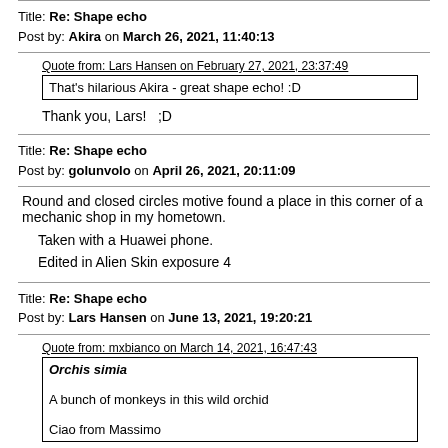Title: Re: Shape echo
Post by: Akira on March 26, 2021, 11:40:13
Quote from: Lars Hansen on February 27, 2021, 23:37:49
That's hilarious Akira - great shape echo!  :D
Thank you, Lars!   ;D
Title: Re: Shape echo
Post by: golunvolo on April 26, 2021, 20:11:09
Round and closed circles motive found a place in this corner of a mechanic shop in my hometown.

Taken with a Huawei phone.
Edited in Alien Skin exposure 4
Title: Re: Shape echo
Post by: Lars Hansen on June 13, 2021, 19:20:21
Quote from: mxbianco on March 14, 2021, 16:47:43
Orchis simia

A bunch of monkeys in this wild orchid

Ciao from Massimo